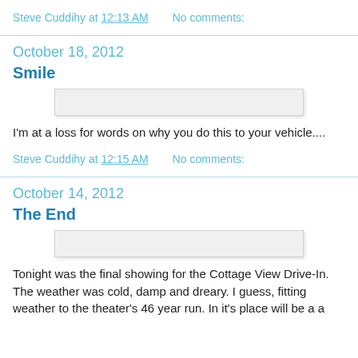Steve Cuddihy at 12:13 AM    No comments:
October 18, 2012
Smile
[Figure (photo): Image placeholder for Smile post]
I'm at a loss for words on why you do this to your vehicle....
Steve Cuddihy at 12:15 AM    No comments:
October 14, 2012
The End
[Figure (photo): Image placeholder for The End post]
Tonight was the final showing for the Cottage View Drive-In. The weather was cold, damp and dreary. I guess, fitting weather to the theater's 46 year run. In it's place will be a a